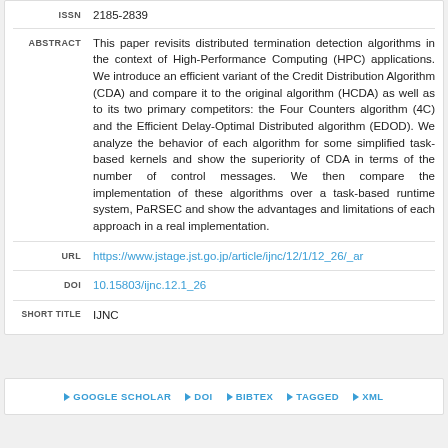| Field | Value |
| --- | --- |
| ISSN | 2185-2839 |
| ABSTRACT | This paper revisits distributed termination detection algorithms in the context of High-Performance Computing (HPC) applications. We introduce an efficient variant of the Credit Distribution Algorithm (CDA) and compare it to the original algorithm (HCDA) as well as to its two primary competitors: the Four Counters algorithm (4C) and the Efficient Delay-Optimal Distributed algorithm (EDOD). We analyze the behavior of each algorithm for some simplified task-based kernels and show the superiority of CDA in terms of the number of control messages. We then compare the implementation of these algorithms over a task-based runtime system, PaRSEC and show the advantages and limitations of each approach in a real implementation. |
| URL | https://www.jstage.jst.go.jp/article/ijnc/12/1/12_26/_ar... |
| DOI | 10.15803/ijnc.12.1_26 |
| SHORT TITLE | IJNC |
GOOGLE SCHOLAR
DOI
BIBTEX
TAGGED
XML